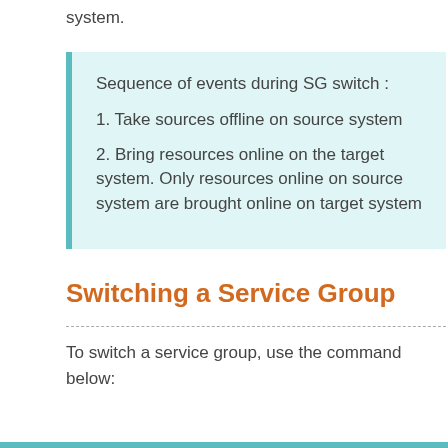system.
Sequence of events during SG switch :
1. Take sources offline on source system
2. Bring resources online on the target system. Only resources online on source system are brought online on target system
Switching a Service Group
To switch a service group, use the command below: